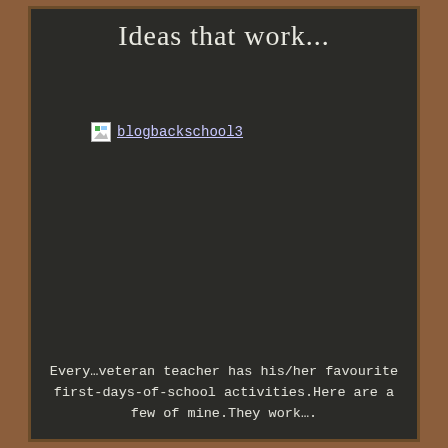Ideas that work...
[Figure (other): Broken image placeholder labeled 'blogbackschool3' with a linked image icon]
Every…veteran teacher has his/her favourite first-days-of-school activities.Here are a few of mine.They work….